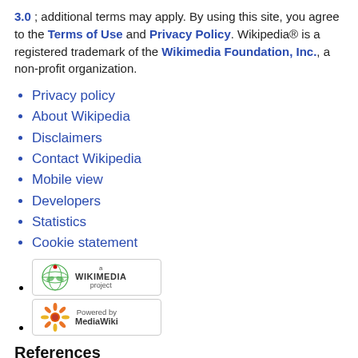3.0; additional terms may apply. By using this site, you agree to the Terms of Use and Privacy Policy. Wikipedia® is a registered trademark of the Wikimedia Foundation, Inc., a non-profit organization.
Privacy policy
About Wikipedia
Disclaimers
Contact Wikipedia
Mobile view
Developers
Statistics
Cookie statement
[Figure (logo): Wikimedia project badge/logo button]
[Figure (logo): Powered by MediaWiki badge/logo button]
References